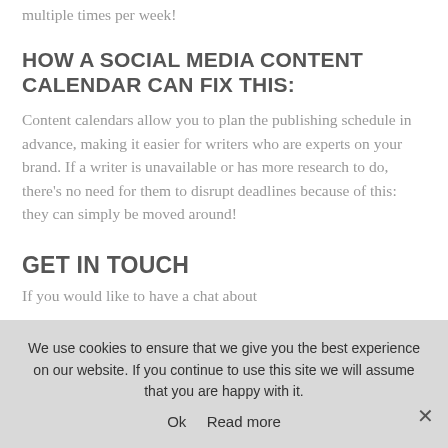multiple times per week!
HOW A SOCIAL MEDIA CONTENT CALENDAR CAN FIX THIS:
Content calendars allow you to plan the publishing schedule in advance, making it easier for writers who are experts on your brand. If a writer is unavailable or has more research to do, there’s no need for them to disrupt deadlines because of this: they can simply be moved around!
GET IN TOUCH
If you would like to have a chat about
We use cookies to ensure that we give you the best experience on our website. If you continue to use this site we will assume that you are happy with it.